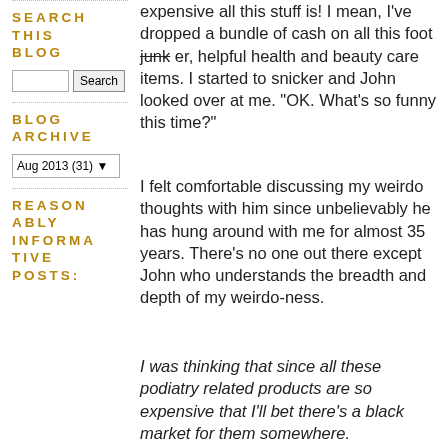SEARCH THIS BLOG
Search
BLOG ARCHIVE
Aug 2013 (31)
REASONABLY INFORMATIVE POSTS:
expensive all this stuff is! I mean, I've dropped a bundle of cash on all this foot junk er, helpful health and beauty care items. I started to snicker and John looked over at me. "OK. What's so funny this time?"
I felt comfortable discussing my weirdo thoughts with him since unbelievably he has hung around with me for almost 35 years. There's no one out there except John who understands the breadth and depth of my weirdo-ness.
I was thinking that since all these podiatry related products are so expensive that I'll bet there's a black market for them somewhere.